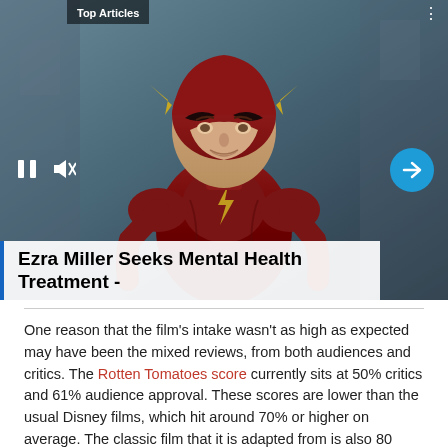[Figure (photo): A person wearing the Flash superhero costume (red suit with gold lightning bolt) looking upward, against a dark background. Media player controls visible: pause button and mute icon on lower left, blue circular arrow button on lower right.]
Top Articles
Ezra Miller Seeks Mental Health Treatment -
One reason that the film's intake wasn't as high as expected may have been the mixed reviews, from both audiences and critics. The Rotten Tomatoes score currently sits at 50% critics and 61% audience approval. These scores are lower than the usual Disney films, which hit around 70% or higher on average. The classic film that it is adapted from is also 80 years old, which may mark why the story doesn't resonate quite as well as adaptations like Beauty and the Beast and Cinderella, which have had stronger